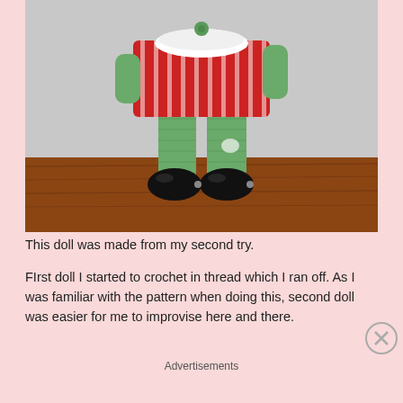[Figure (photo): A crocheted doll wearing a red and white striped dress with white lace collar, green crocheted legs with a small decorative patch, and black shoes, standing on a wooden surface.]
This doll was made from my second try.
FIrst doll I started to crochet in thread which I ran off. As I was familiar with the pattern when doing this, second doll was easier for me to improvise here and there.
Advertisements